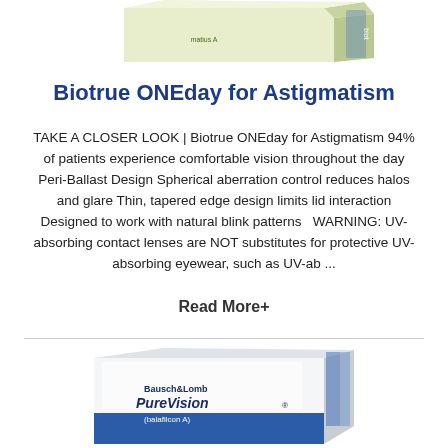[Figure (photo): Biotrue ONEday for Astigmatism contact lens box - light green/cream colored packaging shown at top of page]
Biotrue ONEday for Astigmatism
TAKE A CLOSER LOOK | Biotrue ONEday for Astigmatism 94% of patients experience comfortable vision throughout the day Peri-Ballast Design Spherical aberration control reduces halos and glare Thin, tapered edge design limits lid interaction Designed to work with natural blink patterns   WARNING: UV-absorbing contact lenses are NOT substitutes for protective UV-absorbing eyewear, such as UV-ab ...
Read More+
[Figure (photo): Bausch & Lomb PureVision (balafilcon A) contact lens box - white and blue packaging shown at bottom of page]